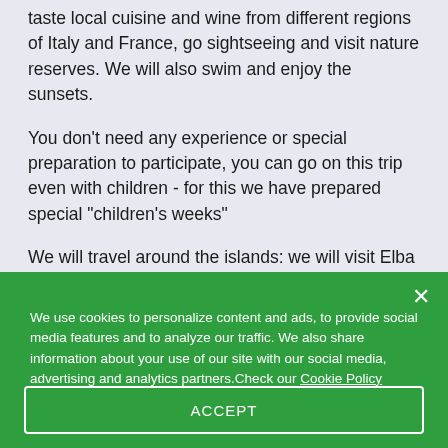taste local cuisine and wine from different regions of Italy and France, go sightseeing and visit nature reserves. We will also swim and enjoy the sunsets.
You don't need any experience or special preparation to participate, you can go on this trip even with children - for this we have prepared special "children's weeks"
We will travel around the islands: we will visit Elba and Capraia, we will walk through the old towns, eat and sunbathe right on the deck of our yacht.
You can travel with children from 3 years old.
We use cookies to personalize content and ads, to provide social media features and to analyze our traffic. We also share information about your use of our site with our social media, advertising and analytics partners.Check our Cookie Policy